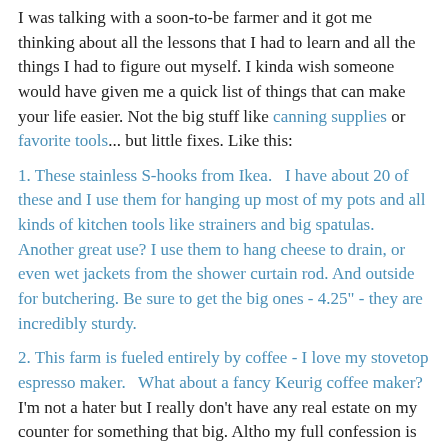I was talking with a soon-to-be farmer and it got me thinking about all the lessons that I had to learn and all the things I had to figure out myself. I kinda wish someone would have given me a quick list of things that can make your life easier. Not the big stuff like canning supplies or favorite tools... but little fixes. Like this:
1. These stainless S-hooks from Ikea.   I have about 20 of these and I use them for hanging up most of my pots and all kinds of kitchen tools like strainers and big spatulas. Another great use? I use them to hang cheese to drain, or even wet jackets from the shower curtain rod. And outside for butchering. Be sure to get the big ones - 4.25" - they are incredibly sturdy.
2. This farm is fueled entirely by coffee - I love my stovetop espresso maker.   What about a fancy Keurig coffee maker?   I'm not a hater but I really don't have any real estate on my counter for something that big. Altho my full confession is that I have been extremely jelly of one of my pals for his ability to instantly have a coffee at any moment... you know